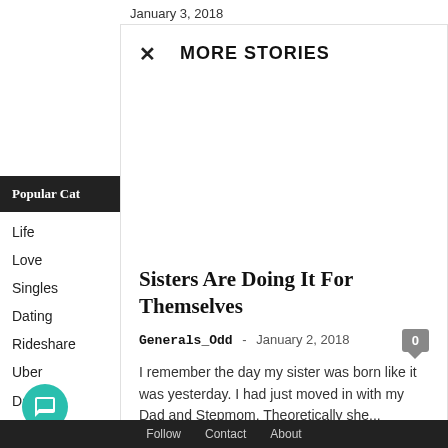January 3, 2018
MORE STORIES
Popular Cat
Life
Love
Singles
Dating
Rideshare
Uber
Sisters Are Doing It For Themselves
Generals_Odd  -  January 2, 2018
I remember the day my sister was born like it was yesterday. I had just moved in with my Dad and Stepmom. Theoretically she...
Follow   Contact   About